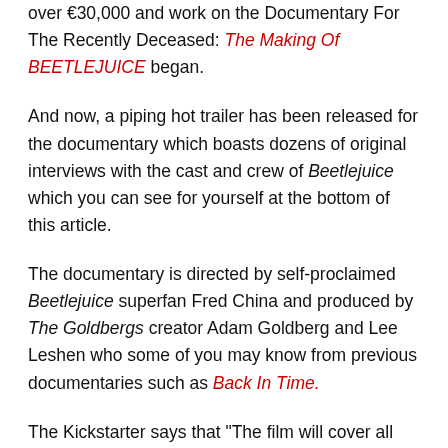over €30,000 and work on the Documentary For The Recently Deceased: The Making Of BEETLEJUICE began.
And now, a piping hot trailer has been released for the documentary which boasts dozens of original interviews with the cast and crew of Beetlejuice which you can see for yourself at the bottom of this article.
The documentary is directed by self-proclaimed Beetlejuice superfan Fred China and produced by The Goldbergs creator Adam Goldberg and Lee Leshen who some of you may know from previous documentaries such as Back In Time.
The Kickstarter says that "The film will cover all the aspects of the Beetlejuice production: from filming in East Corinth, Vermont, to the stop motion and special effects work, as well as a series of exclusive interviews and rare behind the scenes archives acquired by the director Fred China over the